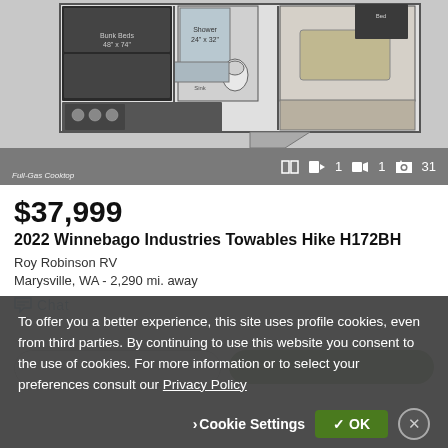[Figure (screenshot): RV floor plan diagram showing Bunk Beds 48"x74", Shower 24"x32", Dinette 60"x72", Bed, bathroom with toilet, kitchen with cooktop. Gray architectural layout.]
$37,999
2022 Winnebago Industries Towables Hike H172BH
Roy Robinson RV
Marysville, WA - 2,290 mi. away
Chat
To offer you a better experience, this site uses profile cookies, even from third parties. By continuing to use this website you consent to the use of cookies. For more information or to select your preferences consult our Privacy Policy
Cookie Settings
✓ OK